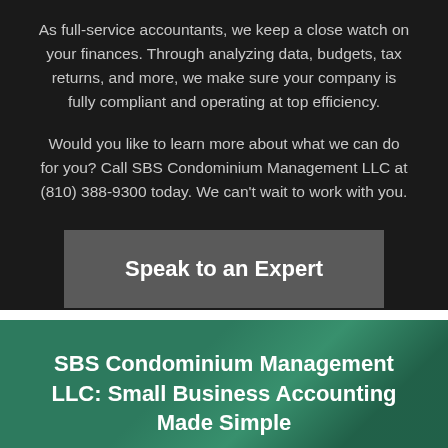As full-service accountants, we keep a close watch on your finances. Through analyzing data, budgets, tax returns, and more, we make sure your company is fully compliant and operating at top efficiency.
Would you like to learn more about what we can do for you? Call SBS Condominium Management LLC at (810) 388-9300 today. We can't wait to work with you.
Speak to an Expert
SBS Condominium Management LLC: Small Business Accounting Made Simple